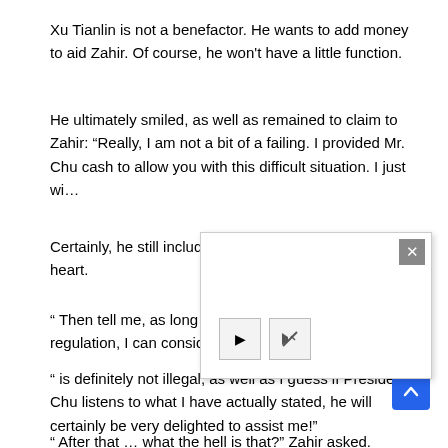Xu Tianlin is not a benefactor. He wants to add money to aid Zahir. Of course, he won't have a little function.
He ultimately smiled, as well as remained to claim to Zahir: “Really, I am not a bit of a failing. I provided Mr. Chu cash to allow you with this difficult situation. I just wi…
[Figure (screenshot): A popup/modal dialog overlay with a close (X) button in the top-right corner and two control buttons (play and mute) at the bottom-left.]
Certainly, he still included so… really felt a little in his heart.
“ Then tell me, as long as you don’t kill or break the regulation, I can consider it!”
“ is definitely not illegal, as well as I guess if President Chu listens to what I have actually stated, he will certainly be very delighted to assist me!”
“ After that … what the hell is that?” Zahir asked.